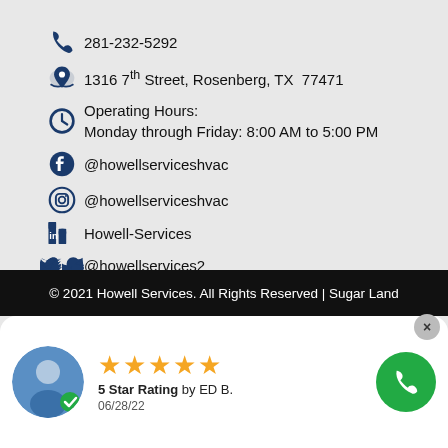281-232-5292
1316 7th Street, Rosenberg, TX  77471
Operating Hours: Monday through Friday: 8:00 AM to 5:00 PM
@howellserviceshvac (Facebook)
@howellserviceshvac (Instagram)
Howell-Services (LinkedIn)
@howellservices2 (Twitter)
© 2021 Howell Services. All Rights Reserved | Sugar Land
5 Star Rating by ED B. 06/28/22